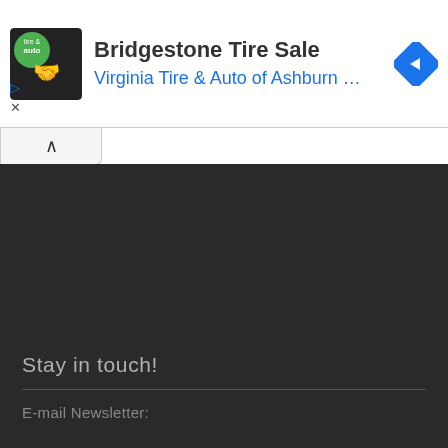[Figure (infographic): Advertisement banner for Bridgestone Tire Sale by Virginia Tire & Auto of Ashburn, with logo, text, and navigation arrow icon]
Stay in touch!
E-mail Newsletter: